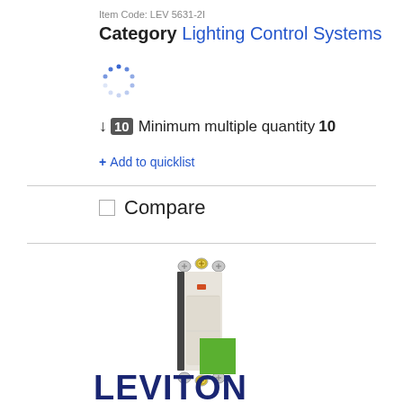Item Code: LEV 5631-2I
Category Lighting Control Systems
[Figure (other): Loading spinner dots animation indicator]
Minimum multiple quantity 10
+ Add to quicklist
Compare
[Figure (photo): Leviton light switch product photo - decora style single pole switch with illuminated indicator, ivory/white color, showing wiring terminals top and bottom]
[Figure (logo): Leviton logo - dark blue text LEVITON with green square graphic above the N]